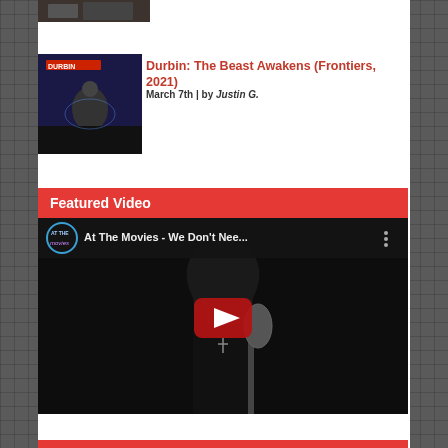[Figure (photo): Small album art thumbnail at the top, partially visible]
Durbin: The Beast Awakens (Frontiers, 2021)
March 7th | by Justin G.
[Figure (photo): Album cover for Durbin: The Beast Awakens, dark illustration with figure]
Featured Video
[Figure (screenshot): YouTube video thumbnail showing 'At The Movies - We Don't Nee...' with a singer at a microphone in dark lighting, YouTube play button overlay]
[Figure (other): Bottom red strip/banner partially visible at very bottom of page]